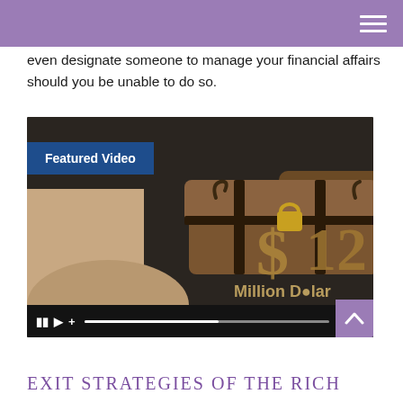even designate someone to manage your financial affairs should you be unable to do so.
[Figure (screenshot): Featured Video thumbnail showing a treasure chest with '$12 Million Dollar' text overlay, with video playback controls at the bottom showing pause, play, plus buttons, a progress bar, and a 1:20 timestamp. A 'Featured Video' label appears in the upper left. A purple scroll-up button is in the lower right corner.]
Exit Strategies of the Rich